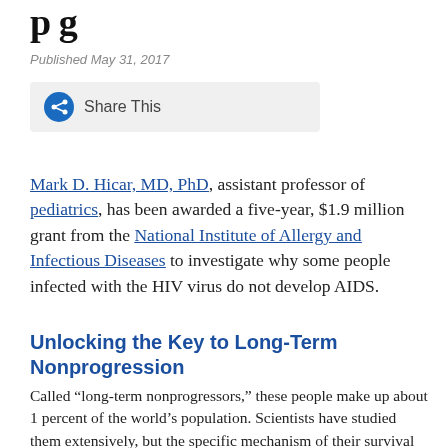p g
Published May 31, 2017
[Figure (other): Share This button with circular share icon on grey background]
Mark D. Hicar, MD, PhD, assistant professor of pediatrics, has been awarded a five-year, $1.9 million grant from the National Institute of Allergy and Infectious Diseases to investigate why some people infected with the HIV virus do not develop AIDS.
Unlocking the Key to Long-Term Nonprogression
Called “long-term nonprogressors,” these people make up about 1 percent of the world’s population. Scientists have studied them extensively, but the specific mechanism of their survival remains a mystery.